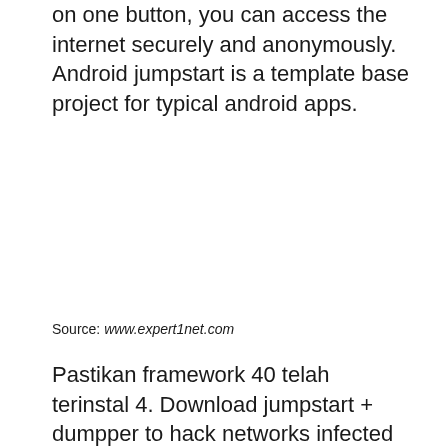on one button, you can access the internet securely and anonymously. Android jumpstart is a template base project for typical android apps.
Source: www.expert1net.com
Pastikan framework 40 telah terinstal 4. Download jumpstart + dumpper to hack networks infected wps vulnerability.